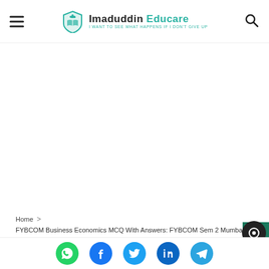Imaduddin Educare — I WANT TO SEE WHAT HAPPENS IF I DON'T GIVE UP
[Figure (other): Large white advertisement/empty area below header]
Home > FYBCOM Business Economics MCQ With Answers: FYBCOM Sem 2 Mumbai University
FYBCOM Business Economics MCQ…